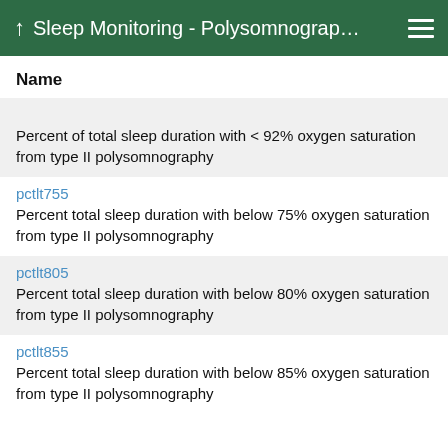Sleep Monitoring - Polysomnograp…
Name
Percent of total sleep duration with < 92% oxygen saturation from type II polysomnography
pctlt755
Percent total sleep duration with below 75% oxygen saturation from type II polysomnography
pctlt805
Percent total sleep duration with below 80% oxygen saturation from type II polysomnography
pctlt855
Percent total sleep duration with below 85% oxygen saturation from type II polysomnography